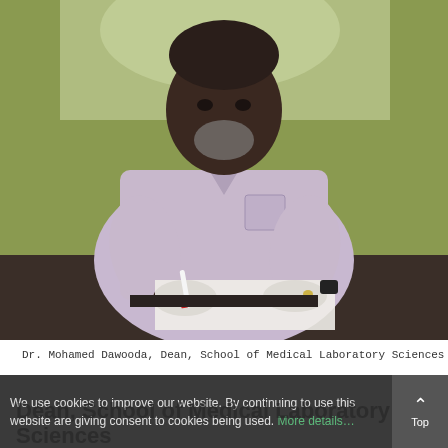[Figure (photo): Portrait photo of Dr. Mohamed Dawooda, Dean of School of Medical Laboratory Sciences, seated at a desk wearing a light purple/lilac long-sleeve shirt, holding a pen over papers on the desk. Background is yellowish-green wall with plastic sheeting.]
Dr. Mohamed Dawooda, Dean, School of Medical Laboratory Sciences
We use cookies to improve our website. By continuing to use this website are giving consent to cookies being used. More details…
Dean, School of Medical Laboratory Sciences